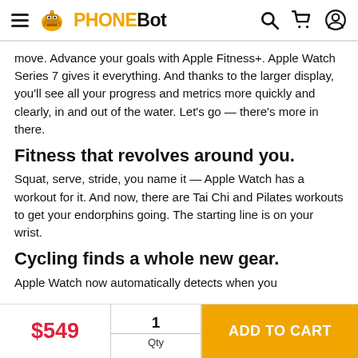PHONEBOT
move. Advance your goals with Apple Fitness+. Apple Watch Series 7 gives it everything. And thanks to the larger display, you'll see all your progress and metrics more quickly and clearly, in and out of the water. Let's go — there's more in there.
Fitness that revolves around you.
Squat, serve, stride, you name it — Apple Watch has a workout for it. And now, there are Tai Chi and Pilates workouts to get your endorphins going. The starting line is on your wrist.
Cycling finds a whole new gear.
Apple Watch now automatically detects when you
| Price | Qty | Action |
| --- | --- | --- |
| $549 | 1 / Qty | ADD TO CART |